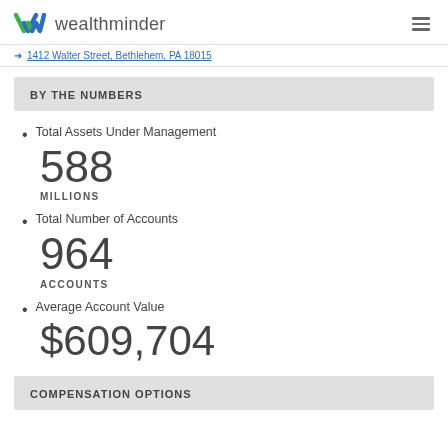wealthminder
1412 Walter Street, Bethlehem, PA 18015
BY THE NUMBERS
Total Assets Under Management
588
MILLIONS
Total Number of Accounts
964
ACCOUNTS
Average Account Value
$609,704
COMPENSATION OPTIONS